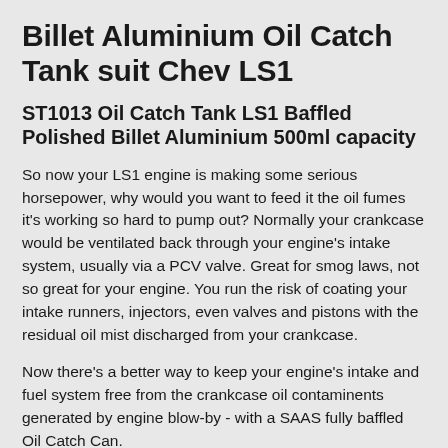Billet Aluminium Oil Catch Tank suit Chev LS1
ST1013 Oil Catch Tank LS1 Baffled Polished Billet Aluminium 500ml capacity
So now your LS1 engine is making some serious horsepower, why would you want to feed it the oil fumes it's working so hard to pump out? Normally your crankcase would be ventilated back through your engine's intake system, usually via a PCV valve. Great for smog laws, not so great for your engine. You run the risk of coating your intake runners, injectors, even valves and pistons with the residual oil mist discharged from your crankcase.
Now there's a better way to keep your engine's intake and fuel system free from the crankcase oil contaminents generated by engine blow-by - with a SAAS fully baffled Oil Catch Can.
Designed specifically for the LS1 engine, the SAAS LS1 Oil